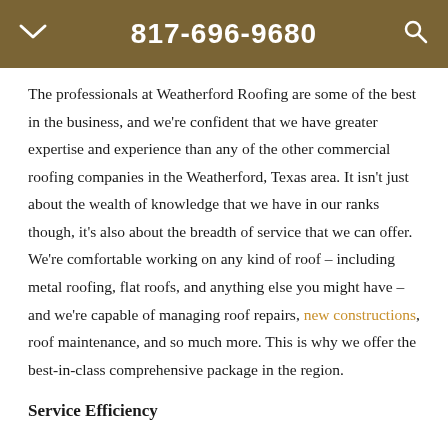817-696-9680
The professionals at Weatherford Roofing are some of the best in the business, and we're confident that we have greater expertise and experience than any of the other commercial roofing companies in the Weatherford, Texas area. It isn't just about the wealth of knowledge that we have in our ranks though, it's also about the breadth of service that we can offer. We're comfortable working on any kind of roof – including metal roofing, flat roofs, and anything else you might have – and we're capable of managing roof repairs, new constructions, roof maintenance, and so much more. This is why we offer the best-in-class comprehensive package in the region.
Service Efficiency